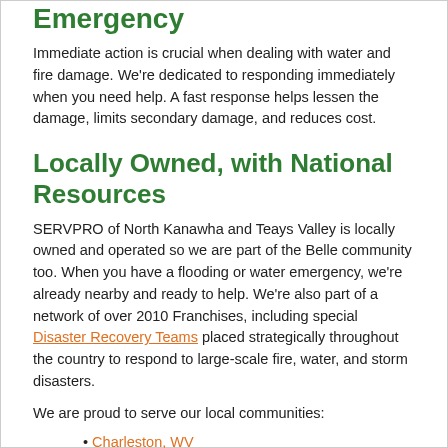Emergency
Immediate action is crucial when dealing with water and fire damage. We're dedicated to responding immediately when you need help. A fast response helps lessen the damage, limits secondary damage, and reduces cost.
Locally Owned, with National Resources
SERVPRO of North Kanawha and Teays Valley is locally owned and operated so we are part of the Belle community too. When you have a flooding or water emergency, we're already nearby and ready to help. We're also part of a network of over 2010 Franchises, including special Disaster Recovery Teams placed strategically throughout the country to respond to large-scale fire, water, and storm disasters.
We are proud to serve our local communities:
Charleston, WV
Cross Lanes, WV
Dunbar, WV